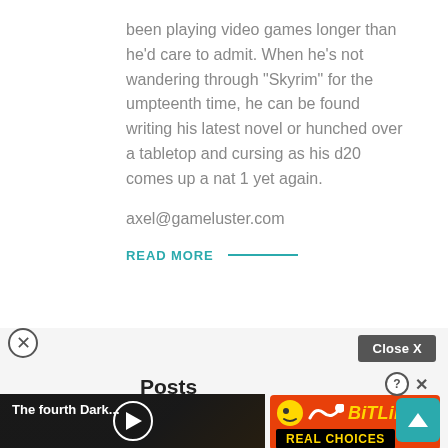been playing video games longer than he'd care to admit. When he's not wandering through "Skyrim" for the umpteenth time, he can be found writing his latest novel or hunched over a tabletop and cursing as his d20 comes up a nat 1 yet again.
axel@gameluster.com
READ MORE
Close X
Fli... Latest Posts
[Figure (screenshot): Video player thumbnail showing a dark scene with a man near candles. Title reads 'The fourth Dark...' with a play button in the center.]
[Figure (screenshot): BitLife advertisement with orange background showing 'BITLIFE REAL CHOICES' text.]
To Replace Jon Watts